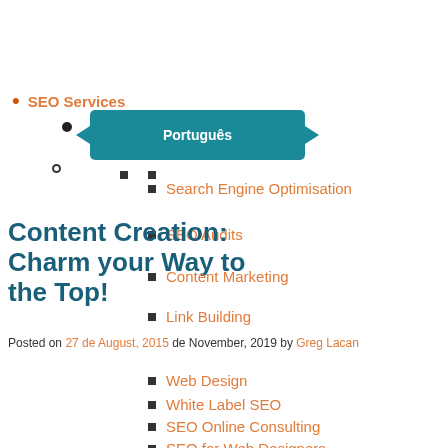SEO Services
Português
Search Engine Optimisation
SEO Audits
Content Creation: Charm your Way to the Top!
Content Marketing
Link Building
Posted on 27 de August, 2015 de November, 2019 by Greg Lacan
Web Design
White Label SEO
SEO Online Consulting
SEO for Web Designers